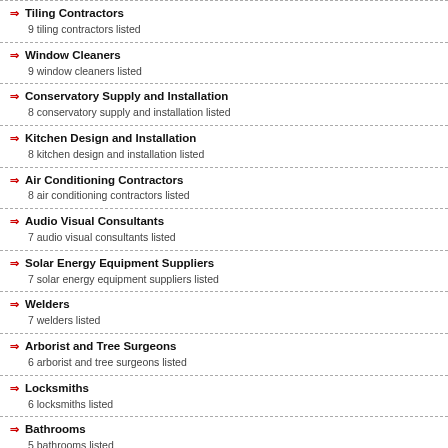Tiling Contractors
9 tiling contractors listed
Window Cleaners
9 window cleaners listed
Conservatory Supply and Installation
8 conservatory supply and installation listed
Kitchen Design and Installation
8 kitchen design and installation listed
Air Conditioning Contractors
8 air conditioning contractors listed
Audio Visual Consultants
7 audio visual consultants listed
Solar Energy Equipment Suppliers
7 solar energy equipment suppliers listed
Welders
7 welders listed
Arborist and Tree Surgeons
6 arborist and tree surgeons listed
Locksmiths
6 locksmiths listed
Bathrooms
5 bathrooms listed
Flooring
5 flooring listed